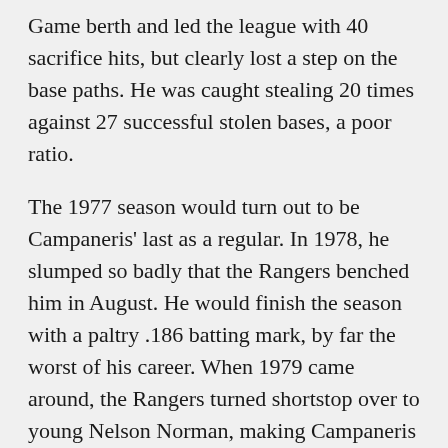Game berth and led the league with 40 sacrifice hits, but clearly lost a step on the base paths. He was caught stealing 20 times against 27 successful stolen bases, a poor ratio.
The 1977 season would turn out to be Campaneris' last as a regular. In 1978, he slumped so badly that the Rangers benched him in August. He would finish the season with a paltry .186 batting mark, by far the worst of his career. When 1979 came around, the Rangers turned shortstop over to young Nelson Norman, making Campaneris an unhappy reserve infielder. In early May, the Rangers dealt Campaneris and his hefty salary to the California Angels. Over the next two seasons, he split time with two other shortstops, Freddie Patek and Jim Anderson, playing reasonably well in the time-sharing role.